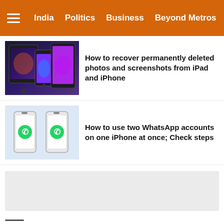India  Politics  Business  Beyond Metros
[Figure (photo): Apple iPad and iPhone devices arranged together showing colorful screens]
How to recover permanently deleted photos and screenshots from iPad and iPhone
[Figure (photo): Two smartphones side by side showing WhatsApp logo on light blue background]
How to use two WhatsApp accounts on one iPhone at once; Check steps
[Figure (other): Gray advertisement banner placeholder]